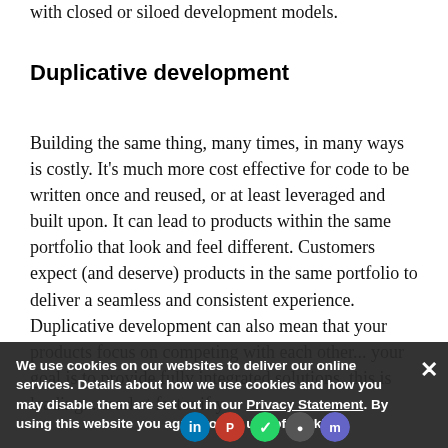with closed or siloed development models.
Duplicative development
Building the same thing, many times, in many ways is costly. It's much more cost effective for code to be written once and reused, or at least leveraged and built upon. It can lead to products within the same portfolio that look and feel different. Customers expect (and deserve) products in the same portfolio to deliver a seamless and consistent experience. Duplicative development can also mean that your products focus on competing with each other... your goal is to provide fully integrated solutions, this is leading... market faster if y
We use cookies on our websites to deliver our online services. Details about how we use cookies and how you may disable them are set out in our Privacy Statement. By using this website you agree to our use of cookies.